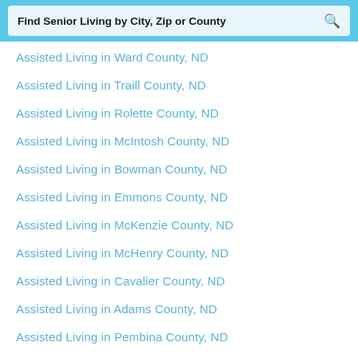Find Senior Living by City, Zip or County
Assisted Living in Ward County, ND
Assisted Living in Traill County, ND
Assisted Living in Rolette County, ND
Assisted Living in McIntosh County, ND
Assisted Living in Bowman County, ND
Assisted Living in Emmons County, ND
Assisted Living in McKenzie County, ND
Assisted Living in McHenry County, ND
Assisted Living in Cavalier County, ND
Assisted Living in Adams County, ND
Assisted Living in Pembina County, ND